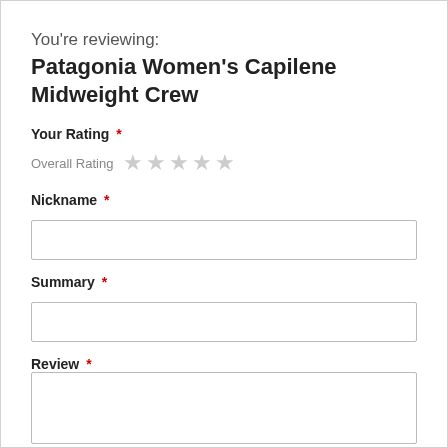You're reviewing:
Patagonia Women's Capilene Midweight Crew
Your Rating *
Overall Rating ★★★★★
Nickname *
[Figure (other): Empty text input field for Nickname]
Summary *
[Figure (other): Empty text input field for Summary]
Review *
[Figure (other): Empty textarea for Review]